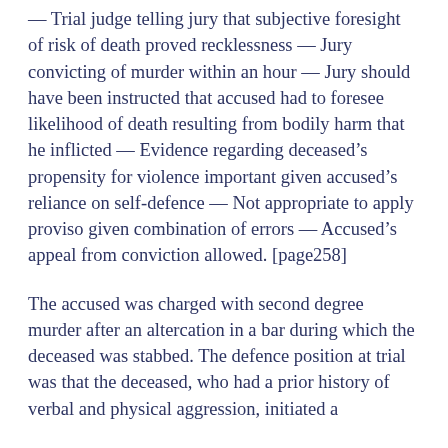— Trial judge telling jury that subjective foresight of risk of death proved recklessness — Jury convicting of murder within an hour — Jury should have been instructed that accused had to foresee likelihood of death resulting from bodily harm that he inflicted — Evidence regarding deceased's propensity for violence important given accused's reliance on self-defence — Not appropriate to apply proviso given combination of errors — Accused's appeal from conviction allowed. [page258]
The accused was charged with second degree murder after an altercation in a bar during which the deceased was stabbed. The defence position at trial was that the deceased, who had a prior history of verbal and physical aggression, initiated a